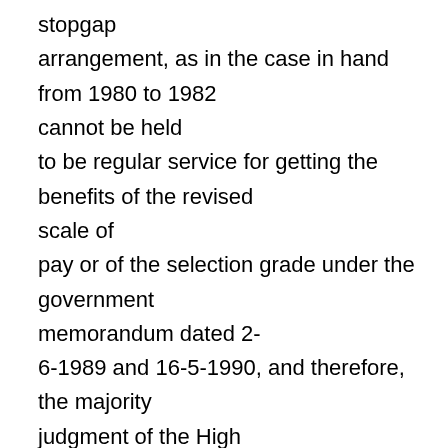stopgap arrangement, as in the case in hand from 1980 to 1982 cannot be held to be regular service for getting the benefits of the revised scale of pay or of the selection grade under the government memorandum dated 2-6-1989 and 16-5-1990, and therefore, the majority judgment of the High Court must be held to be contrary to the aforesaid provisions of the Recruitment Rules, consequently cannot be sustained. The initial letter of appointment dated 6-12-1979 pursuance to which respondent Rakesh Kumar joined as am Assistant Engineer on an ad